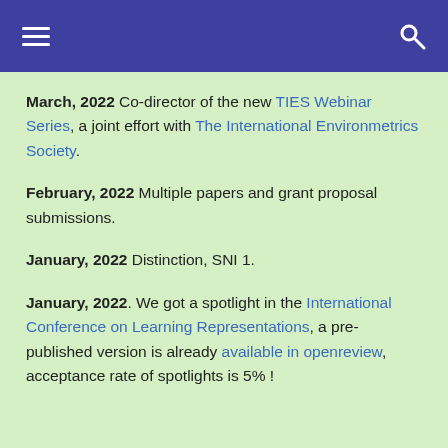≡  [hamburger menu]  [search icon]
March, 2022 Co-director of the new TIES Webinar Series, a joint effort with The International Environmetrics Society.
February, 2022 Multiple papers and grant proposal submissions.
January, 2022 Distinction, SNI 1.
January, 2022. We got a spotlight in the International Conference on Learning Representations, a pre-published version is already available in openreview, acceptance rate of spotlights is 5% !